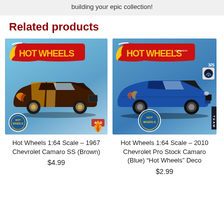building your epic collection!
Related products
[Figure (photo): Hot Wheels 1:64 scale blister card packaging showing a brown 1967 Chevrolet Camaro SS with orange and tan racing stripes, on a blue card with Hot Wheels logo, numbered 4/10]
Hot Wheels 1:64 Scale – 1967 Chevrolet Camaro SS (Brown)
$4.99
[Figure (photo): Hot Wheels 1:64 scale blister card packaging showing a blue 2010 Chevrolet Pro Stock Camaro with black hood scoop, on a blue card with Hot Wheels logo, numbered 3/5, Hot Wheels Team deco]
Hot Wheels 1:64 Scale – 2010 Chevrolet Pro Stock Camaro (Blue) "Hot Wheels" Deco
$2.99